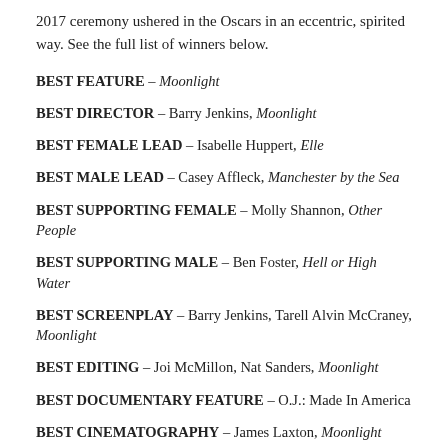2017 ceremony ushered in the Oscars in an eccentric, spirited way. See the full list of winners below.
BEST FEATURE – Moonlight
BEST DIRECTOR – Barry Jenkins, Moonlight
BEST FEMALE LEAD – Isabelle Huppert, Elle
BEST MALE LEAD – Casey Affleck, Manchester by the Sea
BEST SUPPORTING FEMALE – Molly Shannon, Other People
BEST SUPPORTING MALE – Ben Foster, Hell or High Water
BEST SCREENPLAY – Barry Jenkins, Tarell Alvin McCraney, Moonlight
BEST EDITING – Joi McMillon, Nat Sanders, Moonlight
BEST DOCUMENTARY FEATURE – O.J.: Made In America
BEST CINEMATOGRAPHY – James Laxton, Moonlight